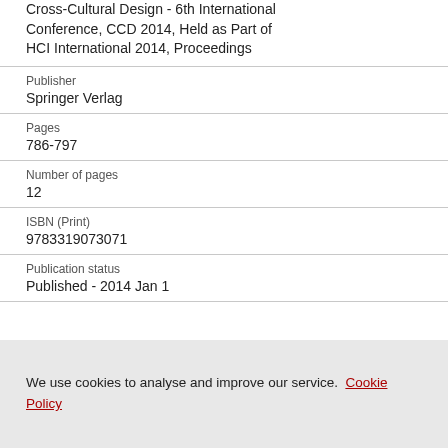Cross-Cultural Design - 6th International Conference, CCD 2014, Held as Part of HCI International 2014, Proceedings
Publisher
Springer Verlag
Pages
786-797
Number of pages
12
ISBN (Print)
9783319073071
Publication status
Published - 2014 Jan 1
We use cookies to analyse and improve our service. Cookie Policy